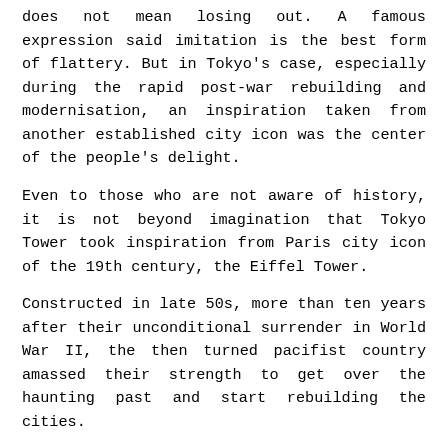does not mean losing out. A famous expression said imitation is the best form of flattery. But in Tokyo's case, especially during the rapid post-war rebuilding and modernisation, an inspiration taken from another established city icon was the center of the people's delight.
Even to those who are not aware of history, it is not beyond imagination that Tokyo Tower took inspiration from Paris city icon of the 19th century, the Eiffel Tower.
Constructed in late 50s, more than ten years after their unconditional surrender in World War II, the then turned pacifist country amassed their strength to get over the haunting past and start rebuilding the cities.
It aimed to be higher than the tower it was remodeled from. In its completion in 1958, with 13 meters height difference, it claimed the title of the world's tallest free-standing structure.